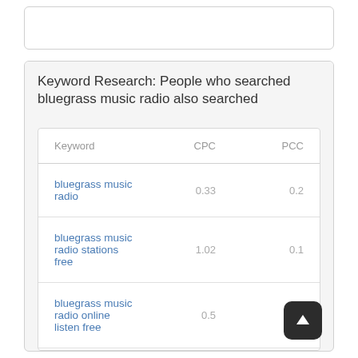Keyword Research: People who searched bluegrass music radio also searched
| Keyword | CPC | PCC |
| --- | --- | --- |
| bluegrass music radio | 0.33 | 0.2 |
| bluegrass music radio stations free | 1.02 | 0.1 |
| bluegrass music radio online listen free | 0.5 | 0.1 |
| bluegrass music radio stations | 0.6 | 0.1 |
| bluegrass music radio stations near me | 0.5 |  |